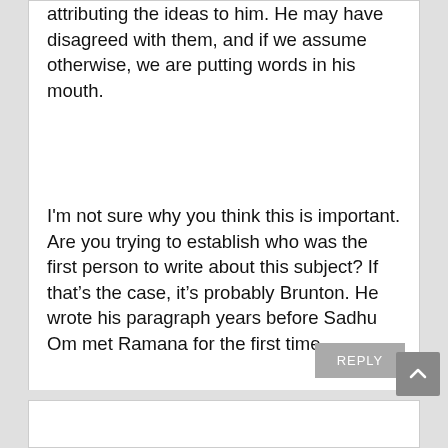attributing the ideas to him. He may have disagreed with them, and if we assume otherwise, we are putting words in his mouth.
I'm not sure why you think this is important. Are you trying to establish who was the first person to write about this subject? If that's the case, it's probably Brunton. He wrote his paragraph years before Sadhu Om met Ramana for the first time.